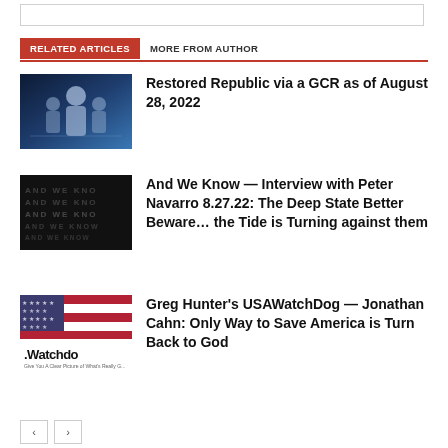RELATED ARTICLES
MORE FROM AUTHOR
[Figure (photo): Thumbnail image for article about Restored Republic via GCR]
Restored Republic via a GCR as of August 28, 2022
[Figure (photo): Thumbnail for And We Know interview article with dark background and repeated text]
And We Know — Interview with Peter Navarro 8.27.22: The Deep State Better Beware… the Tide is Turning against them
[Figure (photo): Thumbnail showing USA Watchdog logo with American flag and Watchdog branding]
Greg Hunter's USAWatchDog — Jonathan Cahn: Only Way to Save America is Turn Back to God